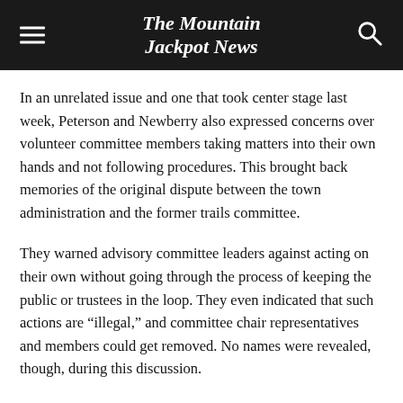The Mountain Jackpot News
In an unrelated issue and one that took center stage last week, Peterson and Newberry also expressed concerns over volunteer committee members taking matters into their own hands and not following procedures. This brought back memories of the original dispute between the town administration and the former trails committee.
They warned advisory committee leaders against acting on their own without going through the process of keeping the public or trustees in the loop. They even indicated that such actions are “illegal,” and committee chair representatives and members could get removed. No names were revealed, though, during this discussion.
Newberry stated that the days of “handshake deals” are over